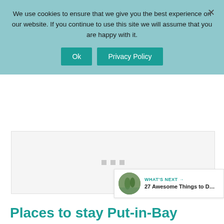We use cookies to ensure that we give you the best experience on our website. If you continue to use this site we will assume that you are happy with it.
Ok
Privacy Policy
[Figure (other): Gray placeholder image area with three small gray loading dots in the center]
[Figure (other): Teal circular heart/like button with count 445 and a share button below]
WHAT'S NEXT → 27 Awesome Things to D…
Places to stay Put-in-Bay